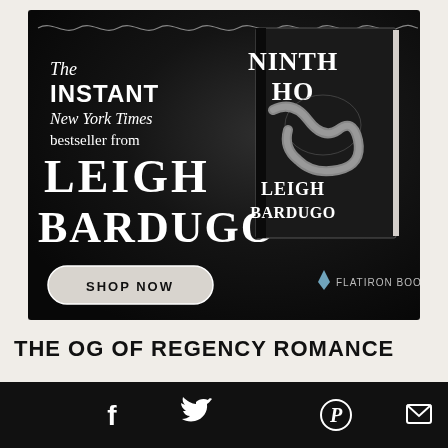[Figure (illustration): Book advertisement for 'Ninth House' by Leigh Bardugo. Dark background with text: 'The INSTANT New York Times bestseller from LEIGH BARDUGO'. Features book cover image with a snake wrapped around text 'Ninth House Leigh Bardugo'. 'SHOP NOW' button and 'Flatiron Books' publisher logo at bottom.]
THE OG OF REGENCY ROMANCE
[Figure (infographic): Black footer bar with social media icons: Facebook (f), Twitter (bird), Pinterest (P), Email (envelope)]